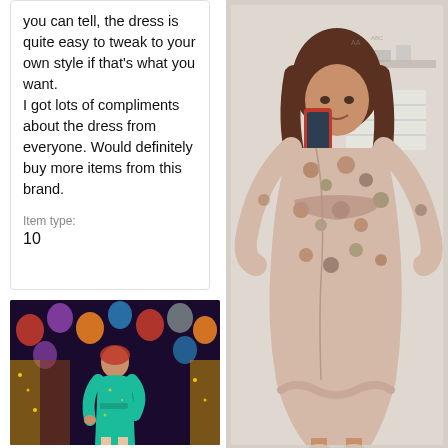you can tell, the dress is quite easy to tweak to your own style if that's what you want. I got lots of compliments about the dress from everyone. Would definitely buy more items from this brand.
Item type:
10
[Figure (photo): Woman in a teal/green velvet wrap dress standing in front of a balloon and sequin backdrop at a party venue.]
[Figure (photo): Woman in a floral print wrap dress taking a mirror selfie with a red phone in what appears to be a bathroom setting.]